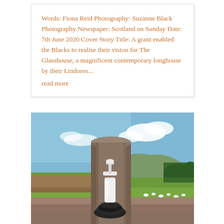Words: Fiona Reid Photography: Suzanne Black Photography Newspaper: Scotland on Sunday Date: 7th June 2020 Cover Story Title: A grant enabled the Blacks to realise their vision for The Glasshouse, a magnificent contemporary longhouse by their Lindores... read more
[Figure (photo): Outdoor photograph showing a wooden fence post with a white hand sanitiser/soap dispenser pump bottle attached to it, and a black hose coiled below. Background shows a green field with scattered white sheep, rolling hills, trees, and a blue sky with white clouds.]